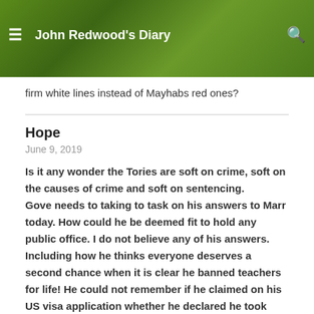John Redwood's Diary
firm white lines instead of Mayhabs red ones?
Hope
June 9, 2019
Is it any wonder the Tories are soft on crime, soft on the causes of crime and soft on sentencing.
Gove needs to taking to task on his answers to Marr today. How could he be deemed fit to hold any public office. I do not believe any of his answers. Including how he thinks everyone deserves a second chance when it is clear he banned teachers for life! He could not remember if he claimed on his US visa application whether he declared he took illegal drugs!